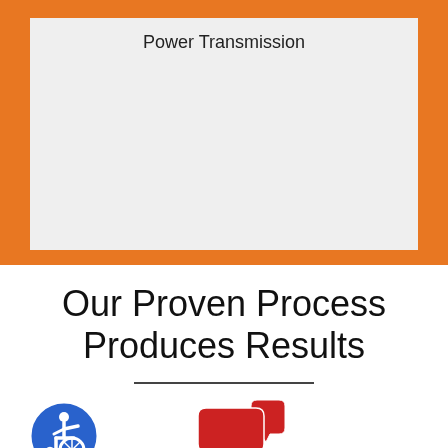Power Transmission
Our Proven Process Produces Results
[Figure (illustration): Accessibility icon (wheelchair symbol in blue circle)]
[Figure (illustration): Chat/speech bubbles icon in red]